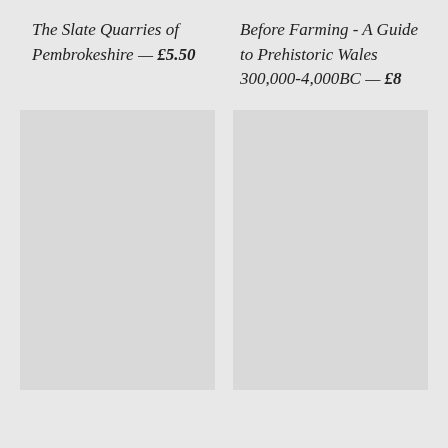The Slate Quarries of Pembrokeshire — £5.50
Before Farming - A Guide to Prehistoric Wales 300,000-4,000BC — £8
[Figure (photo): Book cover image placeholder (light grey rectangle), left column]
[Figure (photo): Book cover image placeholder (light grey rectangle), right column]